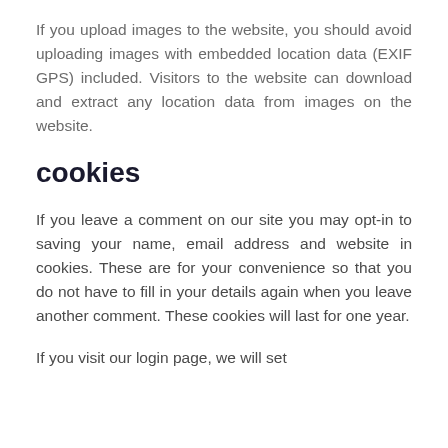If you upload images to the website, you should avoid uploading images with embedded location data (EXIF GPS) included. Visitors to the website can download and extract any location data from images on the website.
cookies
If you leave a comment on our site you may opt-in to saving your name, email address and website in cookies. These are for your convenience so that you do not have to fill in your details again when you leave another comment. These cookies will last for one year.
If you visit our login page, we will set...